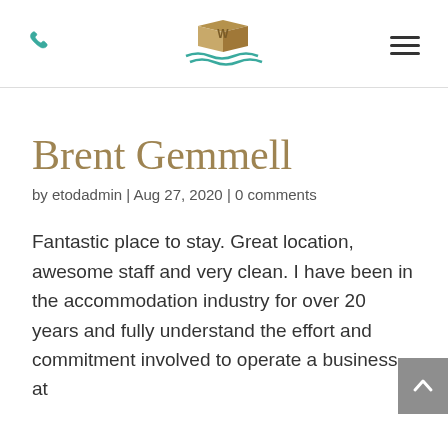Phone icon | Logo | Hamburger menu
Brent Gemmell
by etodadmin | Aug 27, 2020 | 0 comments
Fantastic place to stay. Great location, awesome staff and very clean. I have been in the accommodation industry for over 20 years and fully understand the effort and commitment involved to operate a business at